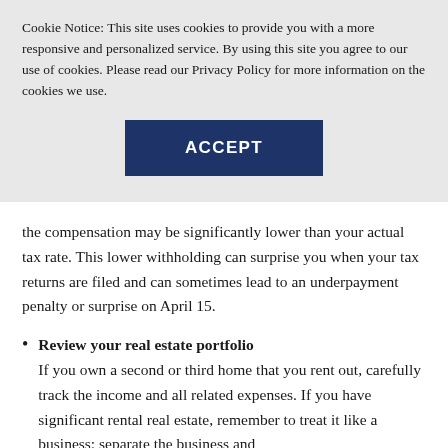Cookie Notice: This site uses cookies to provide you with a more responsive and personalized service. By using this site you agree to our use of cookies. Please read our Privacy Policy for more information on the cookies we use.
ACCEPT
the compensation may be significantly lower than your actual tax rate. This lower withholding can surprise you when your tax returns are filed and can sometimes lead to an underpayment penalty or surprise on April 15.
Review your real estate portfolio
If you own a second or third home that you rent out, carefully track the income and all related expenses. If you have significant rental real estate, remember to treat it like a business; separate the business and